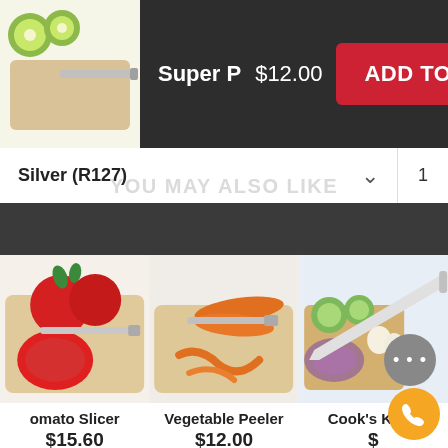[Figure (screenshot): E-commerce mobile product page screenshot showing a kitchen knife product with 'Add to Cart' button, color/size selector, 'You May Also Like' section with three product cards: Tomato Slicer $15.60 with 931 reviews, Vegetable Peeler $12.00 with 166 reviews, Cook's Knife with partial info and a chat/phone bubble overlay.]
Super P  $12.00
ADD TO CART
Silver (R127)
YOU MAY ALSO LIKE
omato Slicer
$15.60
931 reviews
Vegetable Peeler
$12.00
166 reviews
Cook's Knife
reviews